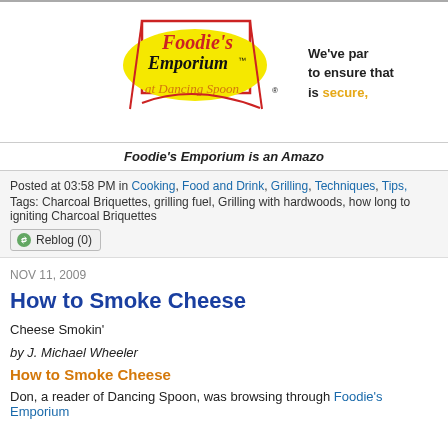[Figure (logo): Foodie's Emporium at Dancing Spoon logo - yellow oval with red script text]
We've par to ensure that is secure,
Foodie's Emporium is an Amazo
Posted at 03:58 PM in Cooking, Food and Drink, Grilling, Techniques, Tips,
Tags: Charcoal Briquettes, grilling fuel, Grilling with hardwoods, how long to igniting Charcoal Briquettes
Reblog (0)
NOV 11, 2009
How to Smoke Cheese
Cheese Smokin'
by J. Michael Wheeler
How to Smoke Cheese
Don, a reader of Dancing Spoon, was browsing through Foodie's Emporium